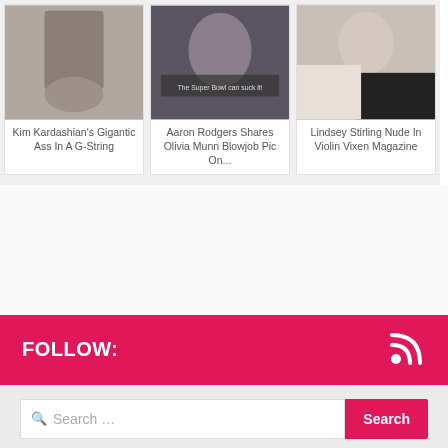[Figure (photo): Card 1: Photo placeholder for Kim Kardashian article]
Kim Kardashian's Gigantic Ass In A G-String
[Figure (photo): Card 2: Photo placeholder for Aaron Rodgers article]
Aaron Rodgers Shares Olivia Munn Blowjob Pic On...
[Figure (photo): Card 3: Photo placeholder for Lindsey Stirling article]
Lindsey Stirling Nude In Violin Vixen Magazine
FOLLOW:
Search ...